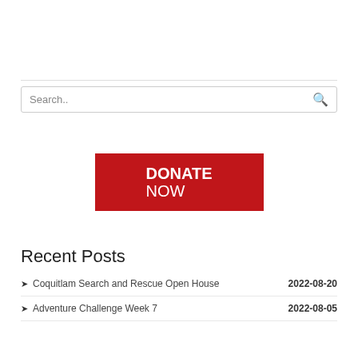[Figure (other): Search bar with placeholder text 'Search..' and a magnifying glass icon on the right]
[Figure (other): Red 'DONATE NOW' button with white bold text]
Recent Posts
Coquitlam Search and Rescue Open House  2022-08-20
Adventure Challenge Week 7  2022-08-05